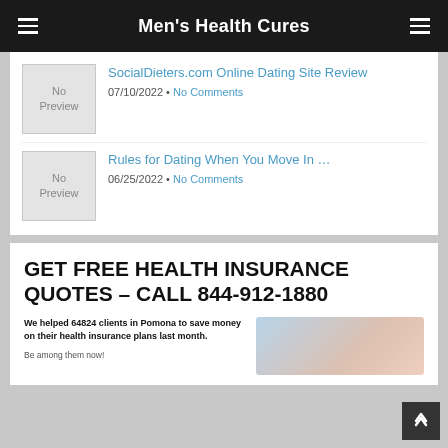Men's Health Cures
[Figure (illustration): No Preview placeholder image for first article]
SocialDieters.com Online Dating Site Review
07/10/2022 · No Comments
[Figure (illustration): No Preview placeholder image for second article]
Rules for Dating When You Move In …
06/25/2022 · No Comments
GET FREE HEALTH INSURANCE QUOTES – CALL 844-912-1880
We helped 64824 clients in Pomona to save money on their health insurance plans last month.
Be among them now!